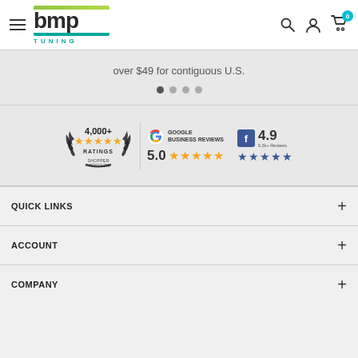BMP Tuning header with logo, hamburger menu, search, account, and cart icons
over $49 for contiguous U.S.
[Figure (other): Carousel navigation dots, 4 dots with first one active]
[Figure (other): Shopper Approved badge showing 4,000+ ratings with 5 gold stars]
[Figure (other): Google Business Reviews badge showing 5.0 rating with 5 gold stars]
[Figure (other): Facebook badge showing 4.9 rating with 5 blue stars]
QUICK LINKS
ACCOUNT
COMPANY